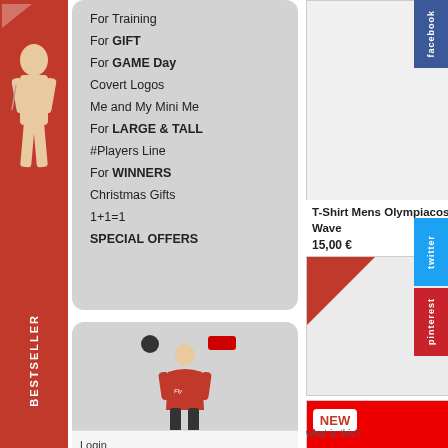[Figure (photo): Left red banner with athlete photo and BESTSELLER vertical text]
For Training
For GIFT
For GAME Day
Covert Logos
Me and My Mini Me
For LARGE & TALL
#Players Line
For WINNERS
Christmas Gifts
1+1=1
SPECIAL OFFERS
[Figure (photo): Product photo: T-Shirt Mens Olympiacos BC Belgrade 2022 F4, red t-shirt worn by player]
T-Shirt Mens Olympiacos BC - Belgrade 2022 F4
15,00 €
[Figure (photo): Top center product image placeholder - empty/white area]
T-Shirt Mens Olympiacos BC - This is Piraeus Wave
15,00 €
[Figure (photo): Middle center product image with red triangle in top-left corner]
T-Shirt Mens Olympiacos BC - We're Champs! 2022
14,90 €
[Figure (photo): Bottom partial product image showing NEW badge and player]
what is this?
Login